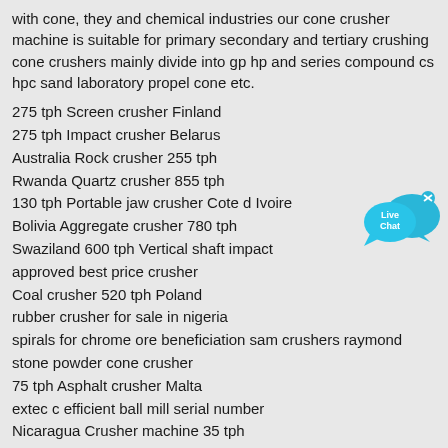with cone, they and chemical industries our cone crusher machine is suitable for primary secondary and tertiary crushing cone crushers mainly divide into gp hp and series compound cs hpc sand laboratory propel cone etc.
275 tph Screen crusher Finland
275 tph Impact crusher Belarus
Australia Rock crusher 255 tph
Rwanda Quartz crusher 855 tph
130 tph Portable jaw crusher Cote d Ivoire
Bolivia Aggregate crusher 780 tph
Swaziland 600 tph Vertical shaft impact approved best price crusher
Coal crusher 520 tph Poland
rubber crusher for sale in nigeria
spirals for chrome ore beneficiation sam crushers raymond stone powder cone crusher
75 tph Asphalt crusher Malta
extec c efficient ball mill serial number
Nicaragua Crusher machine 35 tph
Sierra Leone 350 tph Crushing plant
Mozambique 380 tph VSI crusher
Gambia Stone crushing machine 505 tph
crusher plants for sale in uae
vest crushing plant in indonesia
India 265 tph Rock crusher
[Figure (illustration): Live Chat button with blue speech bubble icons and 'x' close button]